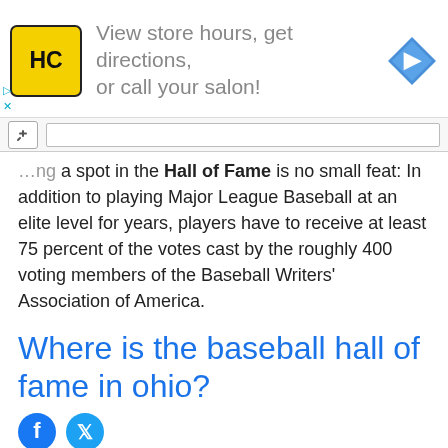[Figure (other): Advertisement banner with HC logo, text 'View store hours, get directions, or call your salon!', and a navigation/directions icon]
...ng a spot in the Hall of Fame is no small feat: In addition to playing Major League Baseball at an elite level for years, players have to receive at least 75 percent of the votes cast by the roughly 400 voting members of the Baseball Writers' Association of America.
Where is the baseball hall of fame in ohio?
[Figure (other): Social share icons: Facebook (blue circle with f) and Twitter (blue circle with bird)]
Cooperstown is often used as shorthand (or a